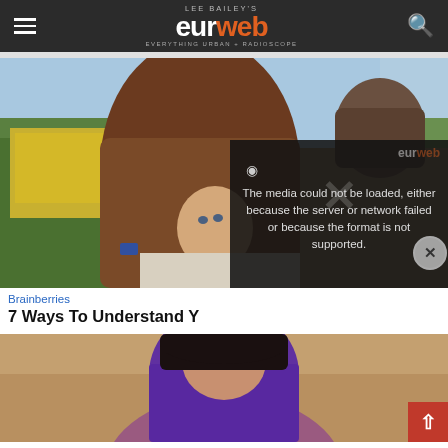Lee Bailey's eurweb — Everything Urban + Radioscope
[Figure (photo): A young woman with long brown hair hugging a man from behind, with yellow flowers in the background. A video error overlay reads: 'The media could not be loaded, either because the server or network failed or because the format is not supported.' with a eurweb logo watermark.]
Brainberries
7 Ways To Understand Y
[Figure (photo): Partial photo of a woman wearing a purple hijab, against a tan/beige background.]